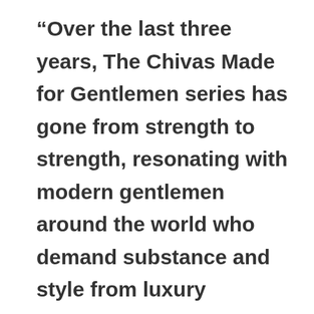“Over the last three years, The Chivas Made for Gentlemen series has gone from strength to strength, resonating with modern gentlemen around the world who demand substance and style from luxury experiences and products. With this latest edition